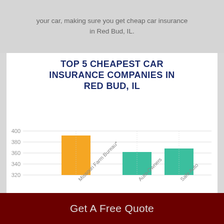your car, making sure you get cheap car insurance in Red Bud, IL.
TOP 5 CHEAPEST CAR INSURANCE COMPANIES IN RED BUD, IL
[Figure (bar-chart): Top 5 Cheapest Car Insurance Companies in Red Bud, IL]
| Rank | Insurance Companies Name | Yearly/ Rate |
| --- | --- | --- |
Get A Free Quote